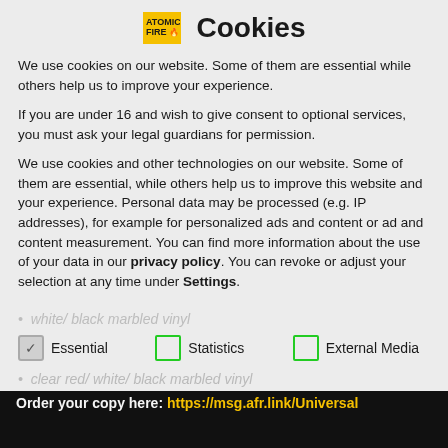Atomic Fire · Cookies
We use cookies on our website. Some of them are essential while others help us to improve your experience.
If you are under 16 and wish to give consent to optional services, you must ask your legal guardians for permission.
We use cookies and other technologies on our website. Some of them are essential, while others help us to improve this website and your experience. Personal data may be processed (e.g. IP addresses), for example for personalized ads and content or ad and content measurement. You can find more information about the use of your data in our privacy policy. You can revoke or adjust your selection at any time under Settings.
Essential (checked)
Statistics (unchecked)
External Media (unchecked)
white/ black marbled vinyl
clear red/ white/ black marbled vinyl
blue/ white/ black marbled vinyl (US exclusive)
digital album
Accept all
Order your copy here: https://msg.afr.link/Universal